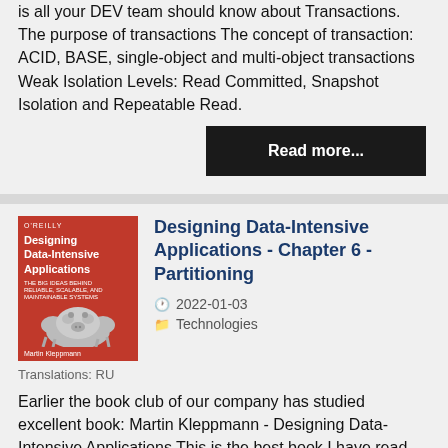is all your DEV team should know about Transactions. The purpose of transactions The concept of transaction: ACID, BASE, single-object and multi-object transactions Weak Isolation Levels: Read Committed, Snapshot Isolation and Repeatable Read.
Read more...
[Figure (illustration): Book cover: O'Reilly - Designing Data-Intensive Applications with a pig illustration]
Designing Data-Intensive Applications - Chapter 6 - Partitioning
2022-01-03
Technologies
Translations: RU
Earlier the book club of our company has studied excellent book: Martin Kleppmann - Designing Data-Intensive Applications This is the best book I have read about building...